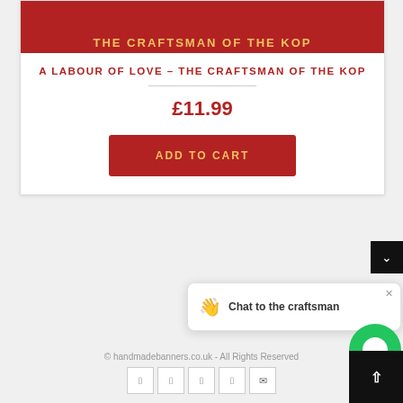[Figure (photo): Red background book cover showing 'a labour of love – THE CRAFTSMAN OF THE KOP' in gold/yellow text]
A LABOUR OF LOVE – THE CRAFTSMAN OF THE KOP
£11.99
ADD TO CART
Chat to the craftsman
© handmadebanners.co.uk - All Rights Reserved